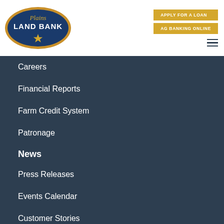[Figure (logo): Plains Land Bank oval logo with blue background and gold star]
APPLY FOR A LOAN
AG BANKING ONLINE
Careers
Financial Reports
Farm Credit System
Patronage
News
Press Releases
Events Calendar
Customer Stories